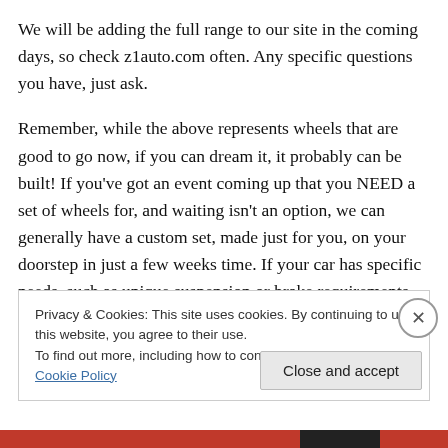We will be adding the full range to our site in the coming days, so check z1auto.com often. Any specific questions you have, just ask.

Remember, while the above represents wheels that are good to go now, if you can dream it, it probably can be built! If you've got an event coming up that you NEED a set of wheels for, and waiting isn't an option, we can generally have a custom set, made just for you, on your doorstep in just a few weeks time. If your car has specific needs, such as unique suspension or brake requirements,
Privacy & Cookies: This site uses cookies. By continuing to use this website, you agree to their use.
To find out more, including how to control cookies, see here: Cookie Policy